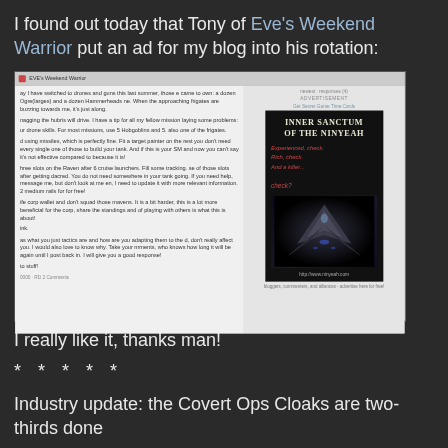I found out today that Tony of Eve's Weekend Warrior put an ad for my blog into his rotation:
[Figure (screenshot): Screenshot of Eve's Weekend Warrior blog page showing an advertisement for 'Inner Sanctum of the Ninyeah' blog with a dark sci-fi spaceship image]
I really like it, thanks man!
* * * * *
Industry update: the Covert Ops Cloaks are two-thirds done